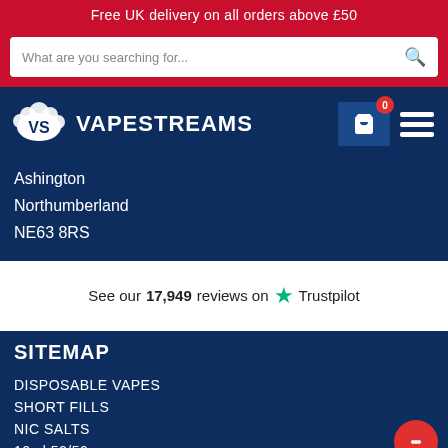Free UK delivery on all orders above £50
What are you searching for...
[Figure (logo): VapeStreams logo with VS emblem and text VAPESTREAMS on dark blue navigation bar]
Ashington
Northumberland
NE63 8RS
See our 17,949 reviews on ★ Trustpilot
SITEMAP
DISPOSABLE VAPES
SHORT FILLS
NIC SALTS
10ml 50/50